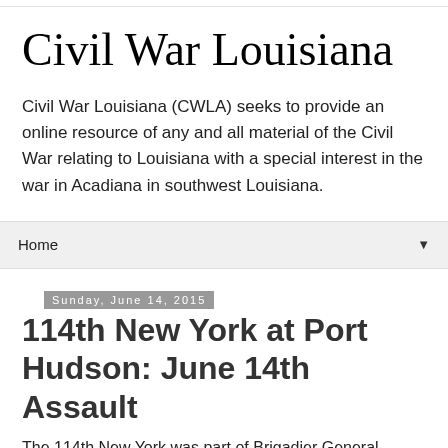Civil War Louisiana
Civil War Louisiana (CWLA) seeks to provide an online resource of any and all material of the Civil War relating to Louisiana with a special interest in the war in Acadiana in southwest Louisiana.
Home
Sunday, June 14, 2015
114th New York at Port Hudson: June 14th Assault
The 114th New York was part of Brigadier General Weitzel's 2nd Brigade, 1st Division (Major General Christopher Augur) during the Siege of Port Hudson. The other regiments of the brigade were: 12th Connecticut, 75th New York, 160th New York and 8th Vermont Regiments. Below are two accounts of the 114th New York at Port Hudson: June 14th Assault